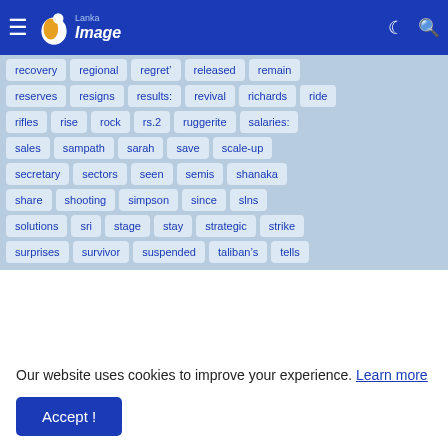Lanka Image - navigation bar with logo, hamburger menu, dark mode and search icons
recovery
regional
regret&#8217;
released
remain
reserves
resigns
results:
revival
richards
ride
rifles
rise
rock
rs.2
ruggerite
salaries:
sales
sampath
sarah
save
scale-up
secretary
sectors
seen
semis
shanaka
share
shooting
simpson
since
slns
solutions
sri
stage
stay
strategic
strike
surprises
survivor
suspended
taliban's
tells
Our website uses cookies to improve your experience. Learn more